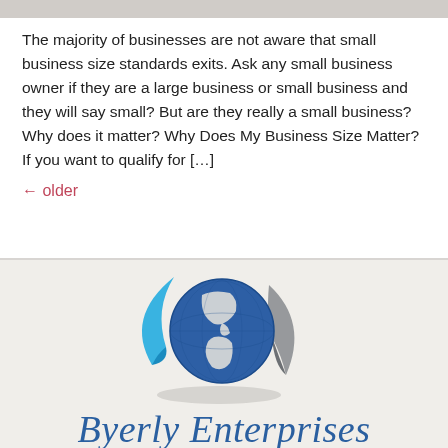The majority of businesses are not aware that small business size standards exits. Ask any small business owner if they are a large business or small business and they will say small? But are they really a small business? Why does it matter? Why Does My Business Size Matter? If you want to qualify for […]
← older
[Figure (logo): Byerly Enterprises globe logo with blue swoosh and grey swoosh around a blue globe showing the Americas, with a shadow beneath]
Byerly Enterprises